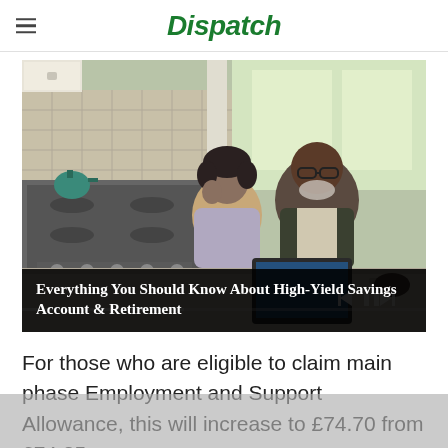Dispatch
[Figure (photo): An older couple (man and woman) sitting at a kitchen counter, smiling and looking at a laptop together. The kitchen has a gas stove, white cabinets, and a bright window in the background.]
Everything You Should Know About High-Yield Savings Account & Retirement
For those who are eligible to claim main phase Employment and Support Allowance, this will increase to £74.70 from £74.35